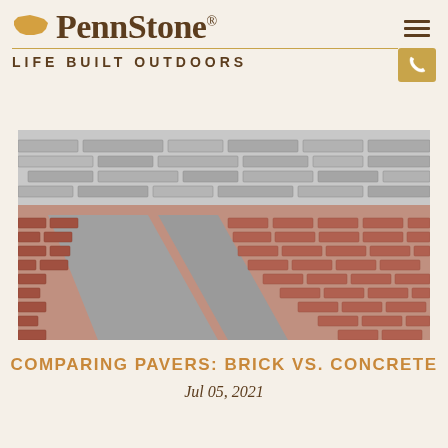PennStone® LIFE BUILT OUTDOORS
[Figure (photo): Overhead perspective photo of a brick and stone paver driveway or patio, with red/brown brick pavers and gray stone border pavers, and a gray stone retaining wall in the background]
COMPARING PAVERS: BRICK VS. CONCRETE
Jul 05, 2021